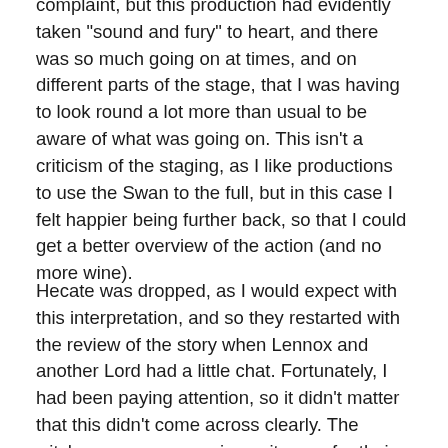complaint, but this production had evidently taken "sound and fury" to heart, and there was so much going on at times, and on different parts of the stage, that I was having to look round a lot more than usual to be aware of what was going on. This isn't a criticism of the staging, as I like productions to use the Swan to the full, but in this case I felt happier being further back, so that I could get a better overview of the action (and no more wine).
Hecate was dropped, as I would expect with this interpretation, and so they restarted with the review of the story when Lennox and another Lord had a little chat. Fortunately, I had been paying attention, so it didn't matter that this didn't come across clearly. The witches came on carrying suitacses for their consultation with Macbeth. Instead of the various items they were chanting about, they took dolls and babies' clothes out of the suitcases to